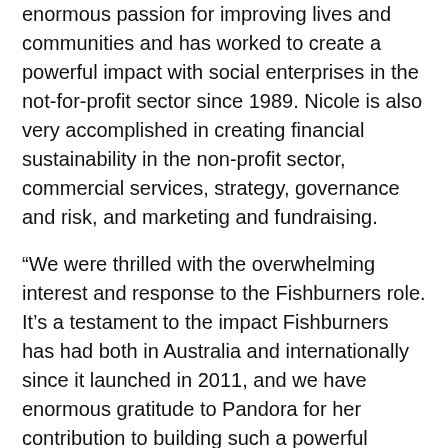enormous passion for improving lives and communities and has worked to create a powerful impact with social enterprises in the not-for-profit sector since 1989. Nicole is also very accomplished in creating financial sustainability in the non-profit sector, commercial services, strategy, governance and risk, and marketing and fundraising.
“We were thrilled with the overwhelming interest and response to the Fishburners role. It’s a testament to the impact Fishburners has had both in Australia and internationally since it launched in 2011, and we have enormous gratitude to Pandora for her contribution to building such a powerful community brand in her many leadership roles over the past eight years,” said Dr Woodthorpe.
Ms O’Brien said she is looking forward to applying her leadership skills to foster the growth of startups, enabling them to create their own success stories.